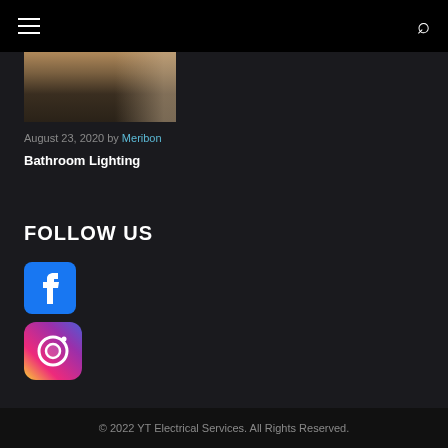Navigation bar with menu and search icons
[Figure (photo): Partial bathroom/room photo showing warm-toned interior]
August 23, 2020 by Meribon
Bathroom Lighting
FOLLOW US
[Figure (logo): Facebook social media icon - blue square with white f logo]
[Figure (logo): Instagram social media icon - gradient square with camera outline]
© 2022 YT Electrical Services. All Rights Reserved.